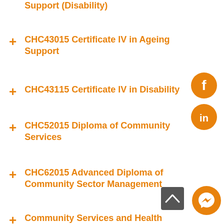Support (Disability)
CHC43015 Certificate IV in Ageing Support
CHC43115 Certificate IV in Disability
CHC52015 Diploma of Community Services
CHC62015 Advanced Diploma of Community Sector Management
Community Services and Health